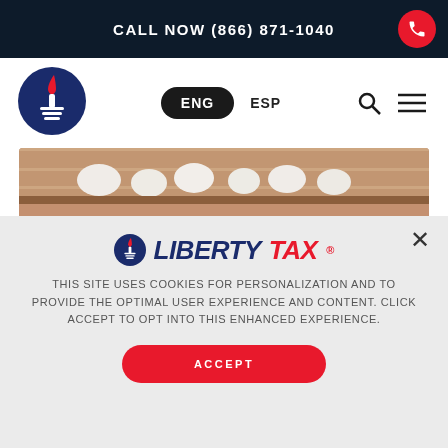CALL NOW (866) 871-1040
[Figure (logo): Liberty Tax Service circular logo with torch icon, navy blue background]
ENG  ESP
[Figure (photo): Two people (adult and child) in a kitchen with brick wall and shelves with white dishes in background]
[Figure (logo): Liberty Tax logo with torch icon, LIBERTYTAX in navy blue and red italic text]
THIS SITE USES COOKIES FOR PERSONALIZATION AND TO PROVIDE THE OPTIMAL USER EXPERIENCE AND CONTENT. CLICK ACCEPT TO OPT INTO THIS ENHANCED EXPERIENCE.
ACCEPT